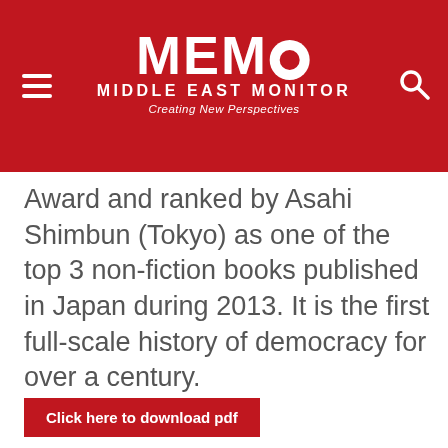MEMO MIDDLE EAST MONITOR Creating New Perspectives
Award and ranked by Asahi Shimbun (Tokyo) as one of the top 3 non-fiction books published in Japan during 2013. It is the first full-scale history of democracy for over a century.
Click here to download pdf
Categories  Reports
0 Comments | Be the first
Unless otherwise stated in the article above, this work by Middle East Monitor is licensed under a Creative Commons